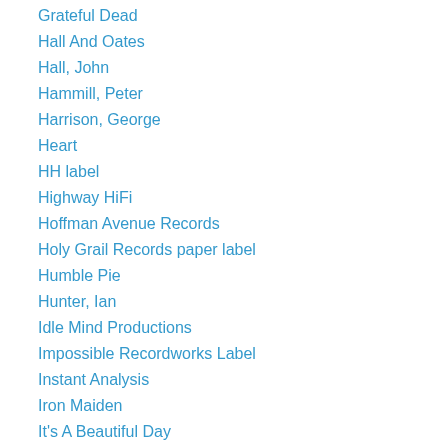Grateful Dead
Hall And Oates
Hall, John
Hammill, Peter
Harrison, George
Heart
HH label
Highway HiFi
Hoffman Avenue Records
Holy Grail Records paper label
Humble Pie
Hunter, Ian
Idle Mind Productions
Impossible Recordworks Label
Instant Analysis
Iron Maiden
It's A Beautiful Day
J. Geils Band
Jan & Dean
Jan Hammer Group